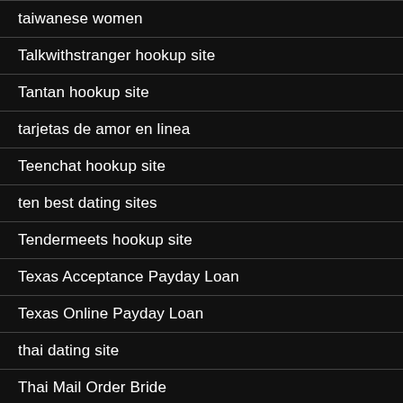taiwanese women
Talkwithstranger hookup site
Tantan hookup site
tarjetas de amor en linea
Teenchat hookup site
ten best dating sites
Tendermeets hookup site
Texas Acceptance Payday Loan
Texas Online Payday Loan
thai dating site
Thai Mail Order Bride
Thai Mail Order Brides